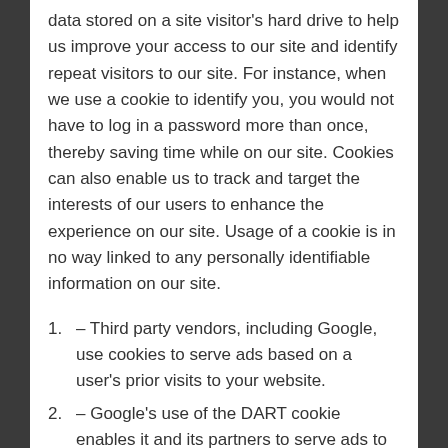data stored on a site visitor's hard drive to help us improve your access to our site and identify repeat visitors to our site. For instance, when we use a cookie to identify you, you would not have to log in a password more than once, thereby saving time while on our site. Cookies can also enable us to track and target the interests of our users to enhance the experience on our site. Usage of a cookie is in no way linked to any personally identifiable information on our site.
1. – Third party vendors, including Google, use cookies to serve ads based on a user's prior visits to your website.
2. – Google's use of the DART cookie enables it and its partners to serve ads to your users based on their visit to your sites and/or other sites on the Internet.
3. – [partially visible]